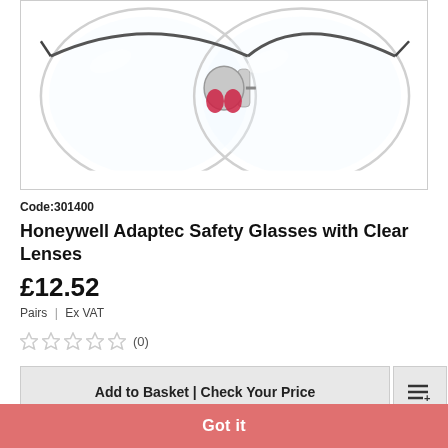[Figure (photo): Safety glasses product photo — Honeywell Adaptec safety glasses with clear lenses viewed from above, showing clear lenses and red/black nose bridge detail, on white background]
Code:301400
Honeywell Adaptec Safety Glasses with Clear Lenses
£12.52
Pairs | Ex VAT
(0)
Add to Basket | Check Your Price
This website uses cookies to ensure you get the best experience on our website. Learn more
Got it